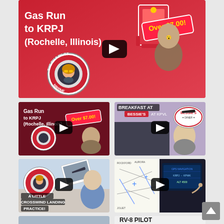[Figure (screenshot): YouTube-style video thumbnail grid showing 'The RV-8 Pilot' channel. Top large thumbnail: 'Gas Run to KRPJ (Rochelle, Illinois) Over $7.00!' with pilot logo and shocked man. Middle left: same video repeated smaller. Middle right: 'Breakfast at Bessie's at KPVL' with Bessie's Diner logo. Lower-mid left: 'A Little Crosswind Landing Practice!' with pilot logo. Lower-mid right: aviation chart/cockpit instrument view. Bottom partial thumbnails: sky view and 'RV-8 Pilot' text.]